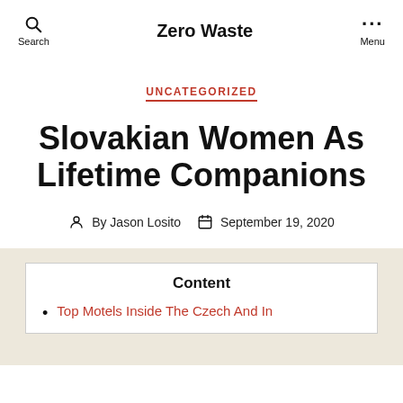Zero Waste
UNCATEGORIZED
Slovakian Women As Lifetime Companions
By Jason Losito  September 19, 2020
Content
Top Motels Inside The Czech And In